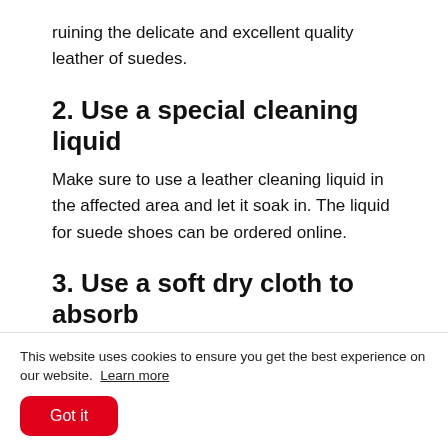ruining the delicate and excellent quality leather of suedes.
2. Use a special cleaning liquid
Make sure to use a leather cleaning liquid in the affected area and let it soak in. The liquid for suede shoes can be ordered online.
3. Use a soft dry cloth to absorb
After applying the cleaning liquid, place a permeable fabric or foam piece over the stain to
This website uses cookies to ensure you get the best experience on our website.  Learn more
Got it